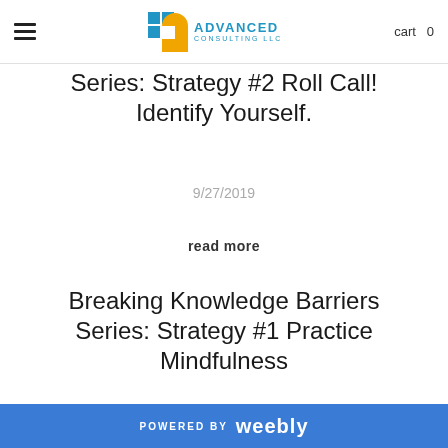ADVANCED CONSULTING LLC | cart 0
Series: Strategy #2 Roll Call! Identify Yourself.
9/27/2019
read more
Breaking Knowledge Barriers Series: Strategy #1 Practice Mindfulness
POWERED BY weebly